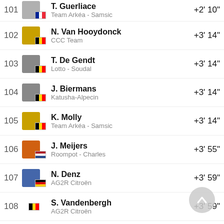101 T. Guerliace – Team Arkéa - Samsic +2' 10"
102 N. Van Hooydonck – CCC Team +3' 14"
103 T. De Gendt – Lotto - Soudal +3' 14"
104 J. Biermans – Katusha-Alpecin +3' 14"
105 K. Molly – Team Arkéa - Samsic +3' 14"
106 J. Meijers – Roompot - Charles +3' 55"
107 N. Denz – AG2R Citroën +3' 59"
108 S. Vandenbergh – AG2R Citroën +3' 59"
109 M. Budding – Roompot - Charles +3' 59"